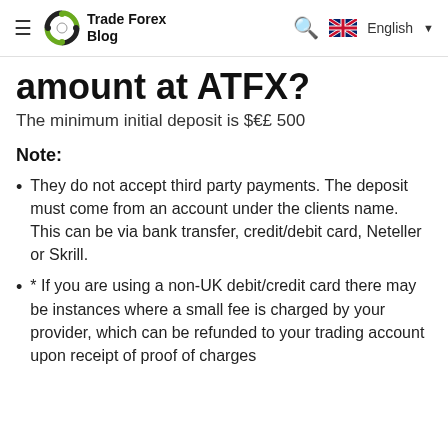Trade Forex Blog
amount at ATFX?
The minimum initial deposit is $€£ 500
Note:
They do not accept third party payments. The deposit must come from an account under the clients name. This can be via bank transfer, credit/debit card, Neteller or Skrill.
* If you are using a non-UK debit/credit card there may be instances where a small fee is charged by your provider, which can be refunded to your trading account upon receipt of proof of charges